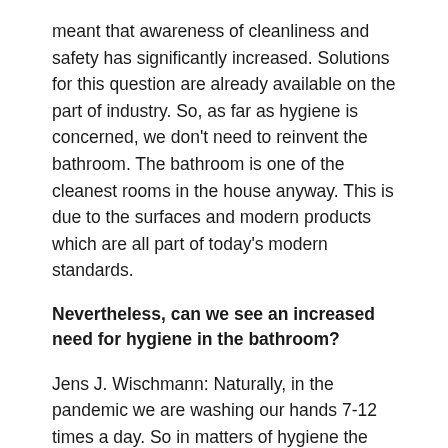meant that awareness of cleanliness and safety has significantly increased. Solutions for this question are already available on the part of industry. So, as far as hygiene is concerned, we don't need to reinvent the bathroom. The bathroom is one of the cleanest rooms in the house anyway. This is due to the surfaces and modern products which are all part of today's modern standards.
Nevertheless, can we see an increased need for hygiene in the bathroom?
Jens J. Wischmann: Naturally, in the pandemic we are washing our hands 7-12 times a day. So in matters of hygiene the private bathroom fulfils a major function – particularly in times of home office and home schooling, during which more members of the family use the bathroom all day long than they